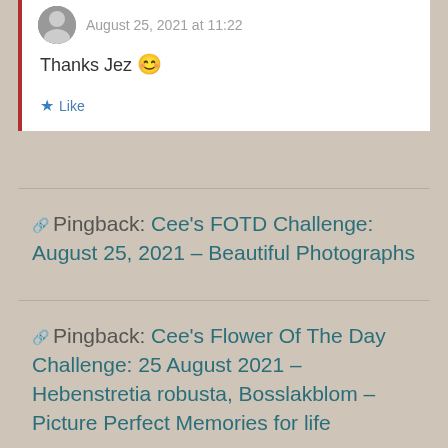August 25, 2021 at 11:22
Thanks Jez 😊
Like
Pingback: Cee's FOTD Challenge: August 25, 2021 – Beautiful Photographs
Pingback: Cee's Flower Of The Day Challenge: 25 August 2021 – Hebenstretia robusta, Bosslakblom – Picture Perfect Memories for life